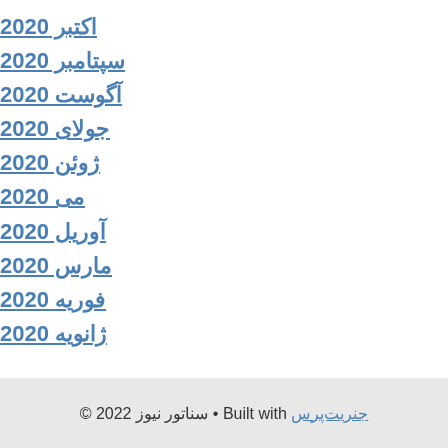اکتبر 2020
سپتامبر 2020
آگوست 2020
جولای 2020
ژوئن 2020
می 2020
آوریل 2020
مارس 2020
فوریه 2020
ژانویه 2020
© 2022 سناتور نیوز • Built with جنریت‌پرس